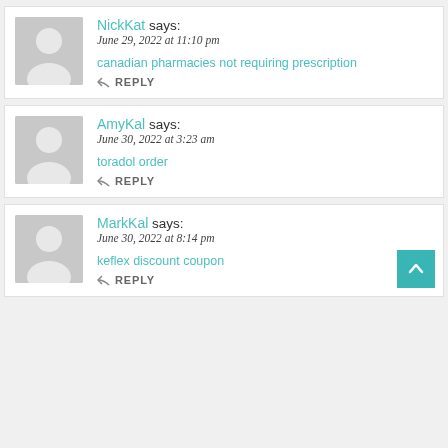[Figure (illustration): Avatar placeholder image for NickKat comment]
NickKat says:
June 29, 2022 at 11:10 pm
canadian pharmacies not requiring prescription
REPLY
[Figure (illustration): Avatar placeholder image for AmyKal comment]
AmyKal says:
June 30, 2022 at 3:23 am
toradol order
REPLY
[Figure (illustration): Avatar placeholder image for MarkKal comment]
MarkKal says:
June 30, 2022 at 8:14 pm
keflex discount coupon
REPLY